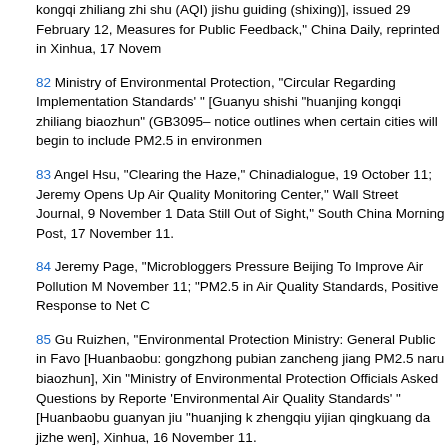kongqi zhiliang zhi shu (AQI) jishu guiding (shixing)], issued 29 February 12, Measures for Public Feedback," China Daily, reprinted in Xinhua, 17 Novem
82 Ministry of Environmental Protection, "Circular Regarding Implementation Standards' " [Guanyu shishi "huanjing kongqi zhiliang biaozhun" (GB3095– notice outlines when certain cities will begin to include PM2.5 in environmen
83 Angel Hsu, "Clearing the Haze," Chinadialogue, 19 October 11; Jeremy Opens Up Air Quality Monitoring Center," Wall Street Journal, 9 November 1 Data Still Out of Sight," South China Morning Post, 17 November 11.
84 Jeremy Page, "Microbloggers Pressure Beijing To Improve Air Pollution M November 11; "PM2.5 in Air Quality Standards, Positive Response to Net C
85 Gu Ruizhen, "Environmental Protection Ministry: General Public in Favo [Huanbaobu: gongzhong pubian zancheng jiang PM2.5 naru biaozhun], Xin "Ministry of Environmental Protection Officials Asked Questions by Reporte 'Environmental Air Quality Standards' " [Huanbaobu guanyan jiu "huanjing k zhengqiu yijian qingkuang da jizhe wen], Xinhua, 16 November 11.
86 "Beijing Officials Mum on Air Quality Readings," Caixin, 6 December 11; Application for Disclosure of PM2.5 Data Refused" [Beijing wangyou shenqi Southern Metropolitan Daily, 22 November 11; Wang Xing, "Disclosing PM2 PM2.5 shuju de shenqing shiyan], Southern Metropolitan Daily, 11 January
87 Te-Ping Chen, "Following Beijing, Hong Kong Releases PM2.5 Pollution